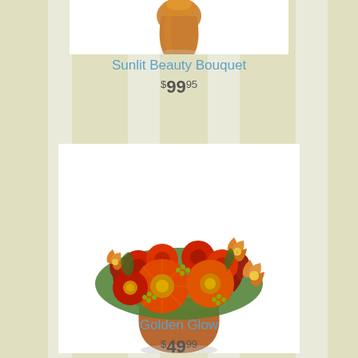[Figure (photo): Partial view of flower bouquet (Sunlit Beauty Bouquet) with amber vase, cropped at top of page]
Sunlit Beauty Bouquet
$99.95
[Figure (photo): Golden Glow flower arrangement: orange and red gerbera daisies, alstroemeria, chrysanthemums, and autumn foliage in a terracotta pot on white background]
Golden Glow
$49.99